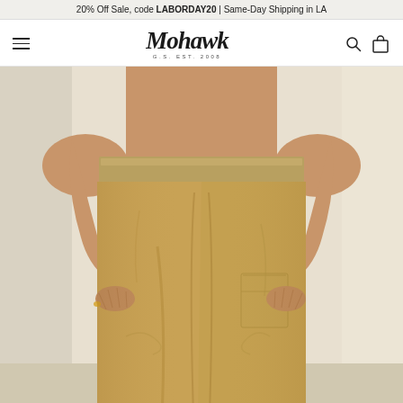20% Off Sale, code LABORDAY20 | Same-Day Shipping in LA
[Figure (logo): Mohawk G.S. EST. 2008 logo with hamburger menu, search icon, and bag icon in navigation bar]
[Figure (photo): Close-up photo of a person wearing khaki/tan cargo pants, front view, against a light beige background, showing waist to ankle with hands resting at sides]